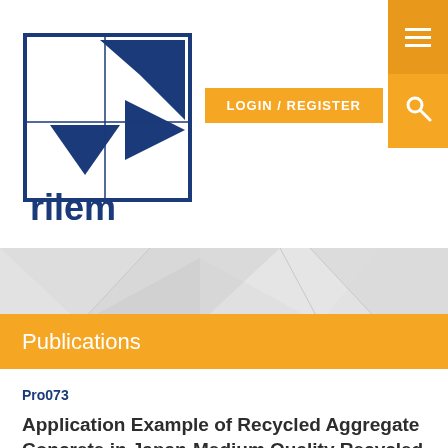[Figure (logo): RILEM organization logo with blue geometric shapes and 'rilem' text]
LOGIN / REGISTER
[Figure (infographic): Gray geometric banner with triangular polygon shapes]
Publications
Pro073
Application Example of Recycled Aggregate Concrete in Japan-Medium Quality Recycled Aggregate Used in Concrete Pavement Elements